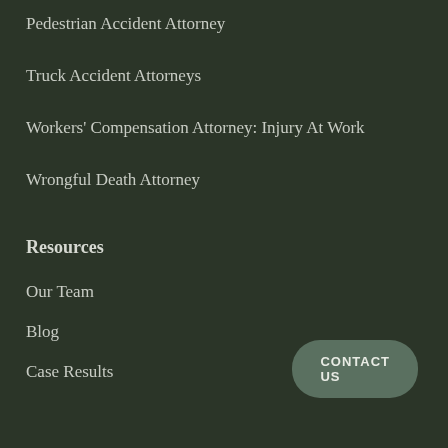Pedestrian Accident Attorney
Truck Accident Attorneys
Workers' Compensation Attorney: Injury At Work
Wrongful Death Attorney
Resources
Our Team
Blog
Case Results
Videos
Support
Contact Us
CONTACT US
Contact Details